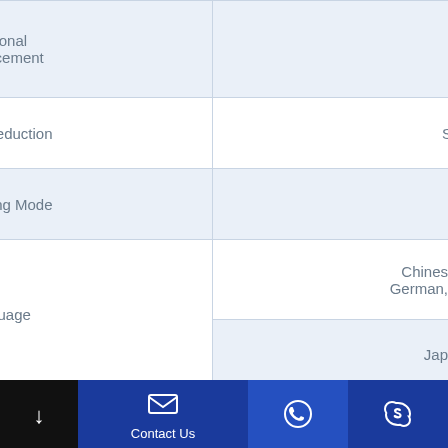| Feature | Value |
| --- | --- |
| Regional Enhancement |  |
| Noise Reduction | S... |
| Recording Mode |  |
| Language | Chinese, German, ... / Jap... |
| General |  |
| Housing |  |
| Bracket |  |
| Operation Temperature | (-... |
| Storage Temperature | ( |
Contact Us